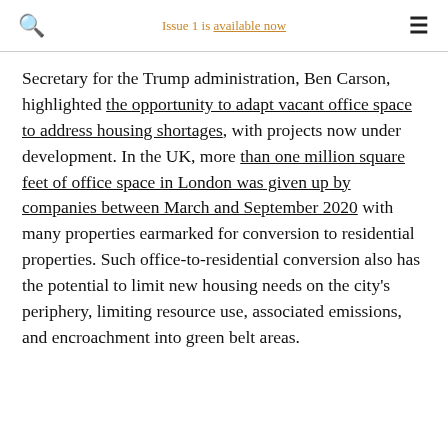Issue 1 is available now
Secretary for the Trump administration, Ben Carson, highlighted the opportunity to adapt vacant office space to address housing shortages, with projects now under development. In the UK, more than one million square feet of office space in London was given up by companies between March and September 2020 with many properties earmarked for conversion to residential properties. Such office-to-residential conversion also has the potential to limit new housing needs on the city's periphery, limiting resource use, associated emissions, and encroachment into green belt areas.